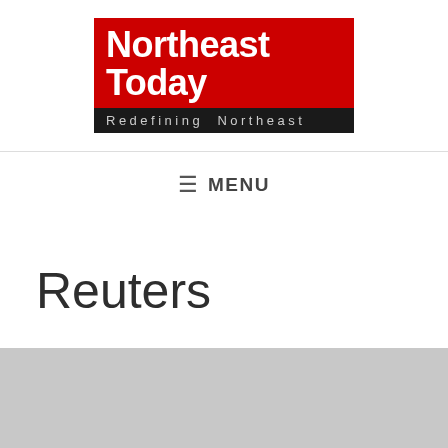[Figure (logo): Northeast Today logo: red box with white bold text 'Northeast Today' above black box with grey spaced text 'Redefining Northeast']
☰ MENU
Reuters